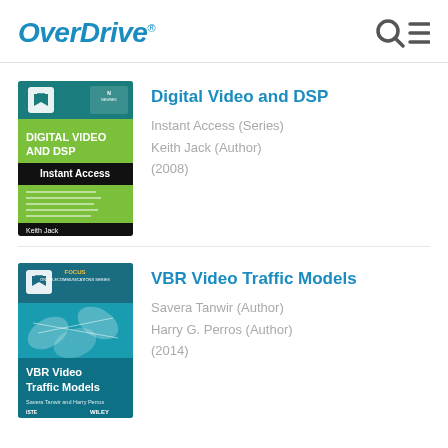OverDrive
[Figure (illustration): Book cover: Digital Video and DSP Instant Access by Keith Jack, green and black cover]
Digital Video and DSP
Instant Access (Series)
Keith Jack (Author)
(2008)
[Figure (illustration): Book cover: VBR Video Traffic Models by Savera Tanwir and Harry G. Perros, blue and teal cover]
VBR Video Traffic Models
Savera Tanwir (Author)
Harry G. Perros (Author)
(2014)